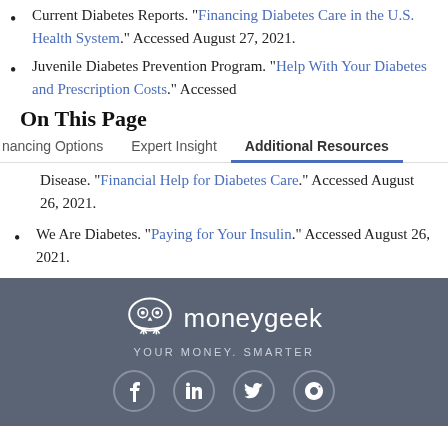Current Diabetes Reports. "Financing Diabetes Care in the U.S. Health System." Accessed August 27, 2021.
Juvenile Diabetes Prevention Program. "Help With Your Diabetes and Prescription Costs." Accessed
On This Page
nancing Options    Expert Insight    Additional Resources
Disease. "Financial Help for Diabetes Care." Accessed August 26, 2021.
We Are Diabetes. "Paying for Your Insulin." Accessed August 26, 2021.
[Figure (logo): MoneyGeek logo with owl icon and tagline YOUR MONEY. SMARTER, plus social media icons for Facebook, LinkedIn, Twitter, Pinterest]